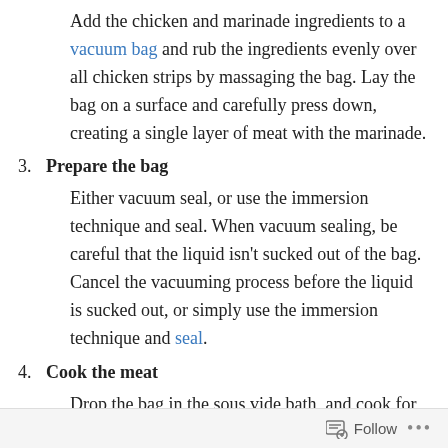Add the chicken and marinade ingredients to a vacuum bag and rub the ingredients evenly over all chicken strips by massaging the bag. Lay the bag on a surface and carefully press down, creating a single layer of meat with the marinade.
3. Prepare the bag
Either vacuum seal, or use the immersion technique and seal. When vacuum sealing, be careful that the liquid isn't sucked out of the bag. Cancel the vacuuming process before the liquid is sucked out, or simply use the immersion technique and seal.
4. Cook the meat
Drop the bag in the sous vide bath, and cook for 2 hours. After cooking time, remove the bag from the bath.
Follow ...